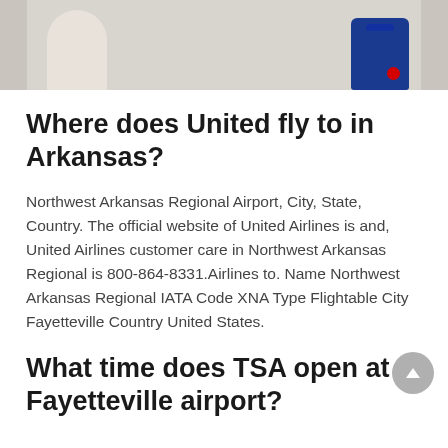[Figure (photo): Top portion of a photo showing a person near luggage or airport setting, partially cropped]
Where does United fly to in Arkansas?
Northwest Arkansas Regional Airport, City, State, Country. The official website of United Airlines is and, United Airlines customer care in Northwest Arkansas Regional is 800-864-8331.Airlines to. Name Northwest Arkansas Regional IATA Code XNA Type Flightable City Fayetteville Country United States.
What time does TSA open at Fayetteville airport?